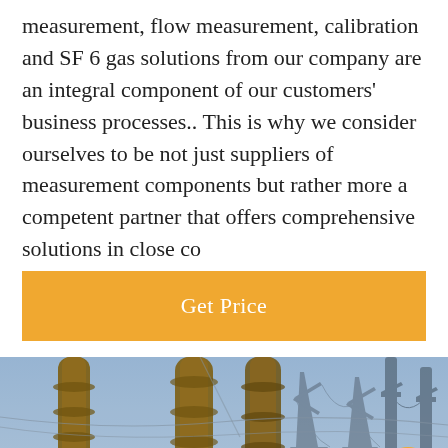measurement, flow measurement, calibration and SF 6 gas solutions from our company are an integral component of our customers' business processes.. This is why we consider ourselves to be not just suppliers of measurement components but rather more a competent partner that offers comprehensive solutions in close co
[Figure (other): Orange 'Get Price' button]
[Figure (photo): Photo of electrical substation with large insulators/bushings in foreground, power transmission towers and lines in background against blue sky. Chat bar overlay at bottom with 'Leave Message' on left, customer service avatar in center, 'Chat Online' on right. Orange scroll-up arrow button bottom right.]